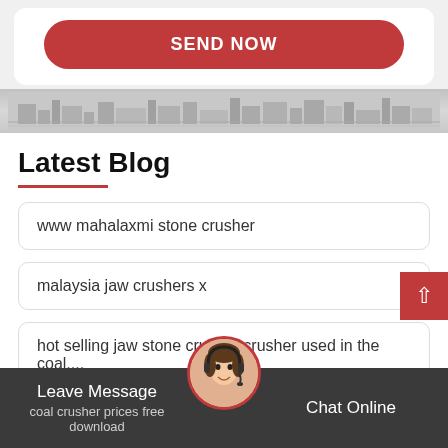[Figure (other): Red rounded button labeled SEND NOW on white card background]
[Figure (photo): Grayscale industrial building/factory banner strip]
Latest Blog
www mahalaxmi stone crusher
malaysia jaw crushers x
hot selling jaw stone crusher crusher used in the coal....
efficient fluorspar gyratory crusher in Nur-Sultan
coal crusher prices free download
Leave Message
Chat Online